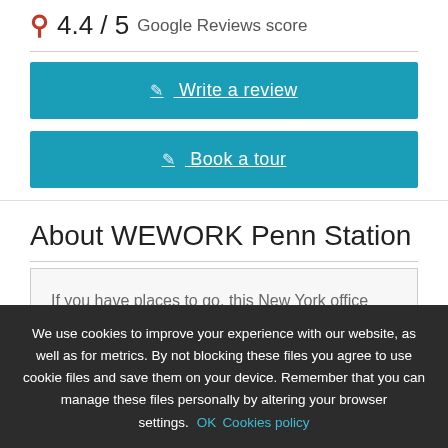4.4 / 5 Google Reviews score
Write a review
Book a tour
About WEWORK Penn Station
If you have places to go, this New York office space gives you access to one of the city's busiest transit hubs. Penn Station is the terminal for Amtrak and New Jersey Transits trains, of course, so it's a magnet for commuters. You also
We use cookies to improve your experience with our website, as well as for metrics. By not blocking these files you agree to use cookie files and save them on your device. Remember that you can manage these files personally by altering your browser settings. OK Cookies policy